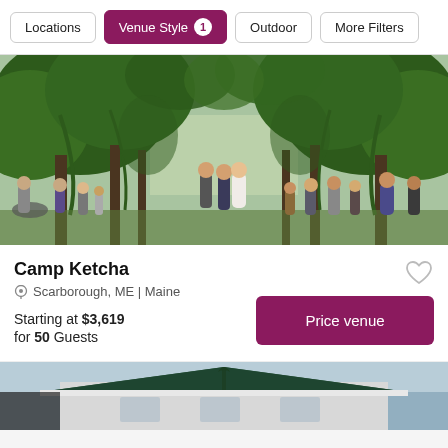Locations | Venue Style 1 | Outdoor | More Filters
[Figure (photo): Outdoor wedding ceremony under a tree canopy with green foliage, bride and groom with officiant in the center, guests seated on either side]
Camp Ketcha
Scarborough, ME | Maine
Starting at $3,619 for 50 Guests
[Figure (photo): Partial view of a building with a dark green roof and white exterior, photographed at dusk]